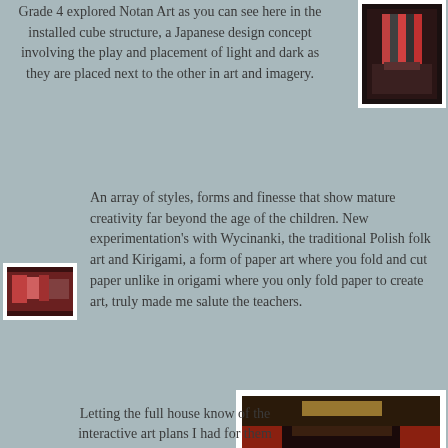Grade 4 explored Notan Art as you can see here in the installed cube structure, a Japanese design concept involving the play and placement of light and dark as they are placed next to the other in art and imagery.
[Figure (photo): Photo of an installed cube structure art display on a dark stage, showing colorful Notan art arrangement.]
[Figure (photo): Small photo showing colorful artwork, likely student artwork with red and colorful elements.]
An array of styles, forms and finesse that show mature creativity far beyond the age of the children. New experimentation's with Wycinanki, the traditional Polish folk art and Kirigami, a form of paper art where you fold and cut paper unlike in origami where you only fold paper to create art, truly made me salute the teachers.
[Figure (photo): Large photo of a full auditorium/hall with students seated in rows watching a presentation. The hall has warm lighting with red and orange wall panels visible.]
Letting the full house know of the interactive art plans I had for them